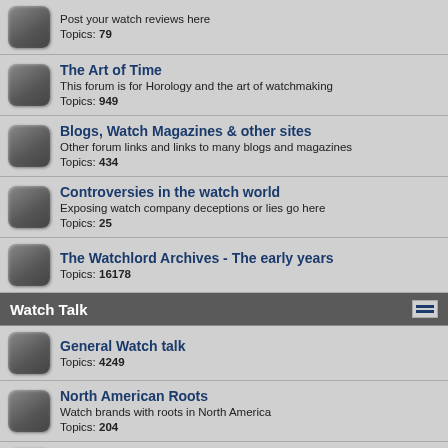Post your watch reviews here
Topics: 79
The Art of Time
This forum is for Horology and the art of watchmaking
Topics: 949
Blogs, Watch Magazines & other sites
Other forum links and links to many blogs and magazines
Topics: 434
Controversies in the watch world
Exposing watch company deceptions or lies go here
Topics: 25
The Watchlord Archives - The early years
Topics: 16178
Watch Talk
General Watch talk
Topics: 4249
North American Roots
Watch brands with roots in North America
Topics: 204
Swiss Watches